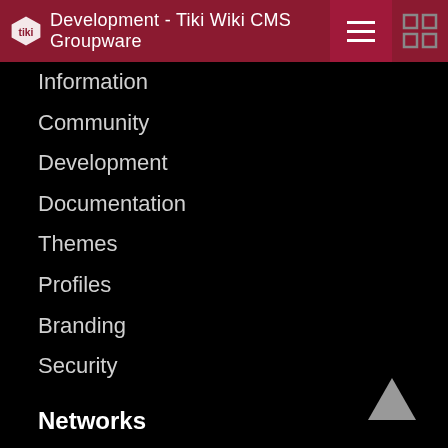Development - Tiki Wiki CMS Groupware
Information
Community
Development
Documentation
Themes
Profiles
Branding
Security
Networks
Twitter
Facebook
Linkedin
Open Hub
SlideShare
Flickr (old)
YouTube